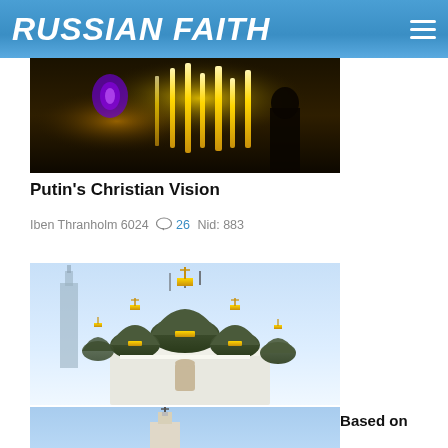RUSSIAN FAITH
[Figure (photo): Dark interior photo showing candles and golden candlesticks in what appears to be an Orthodox church]
Putin's Christian Vision
Iben Thranholm 6024  💬 26 Nid: 883
[Figure (photo): Exterior photo of Russian Orthodox church with dark green and gold onion domes against a blue sky, with a Stalin-era skyscraper visible in the background]
Russian Church Calls for Financial System Based on Christian Values
Anastasia Bazenkova 1441  💬 9 Nid: 907
[Figure (photo): Partial view of another Orthodox church exterior against blue sky]